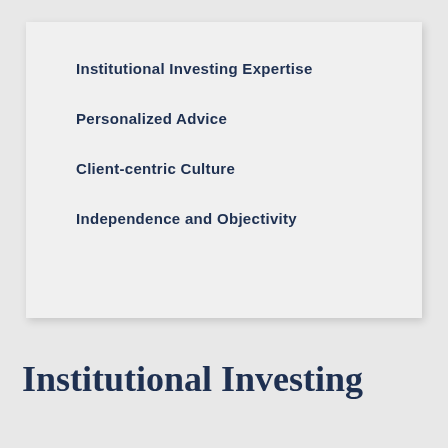Institutional Investing Expertise
Personalized Advice
Client-centric Culture
Independence and Objectivity
Institutional Investing